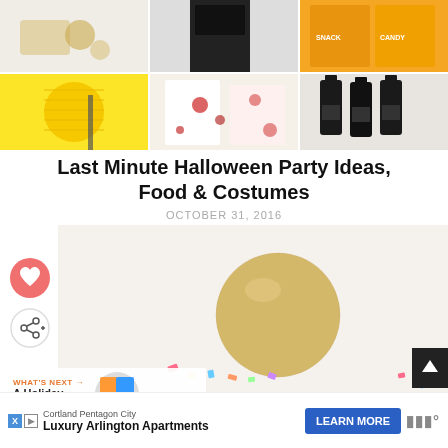[Figure (photo): Top photo grid collage of Halloween party items: row 1 shows gold decorations, a black dress, and orange snack packages; row 2 shows a yellow honeycomb decoration, blood-splatter white chocolate, and dark wine bottles]
Last Minute Halloween Party Ideas, Food & Costumes
OCTOBER 31, 2016
[Figure (photo): Gold metallic balloon with colorful confetti on white background, with a heart (like) button and share button on the left side, and a 'What's Next' promo for 'A Holiday Crafting Part...' with a colorful circular image]
Cortland Pentagon City
Luxury Arlington Apartments
LEARN MORE